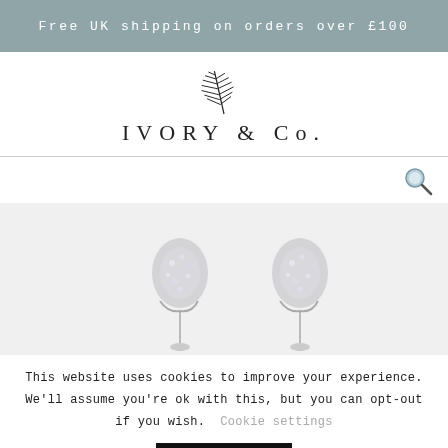Free UK shipping on orders over £100
[Figure (logo): Ivory & Co. logo with a palm leaf illustration above the brand name text 'IVORY & Co.']
[Figure (photo): Two crystal/diamond encrusted bird-shaped earrings on a white/grey background]
This website uses cookies to improve your experience. We'll assume you're ok with this, but you can opt-out if you wish.
Cookie settings
ACCEPT